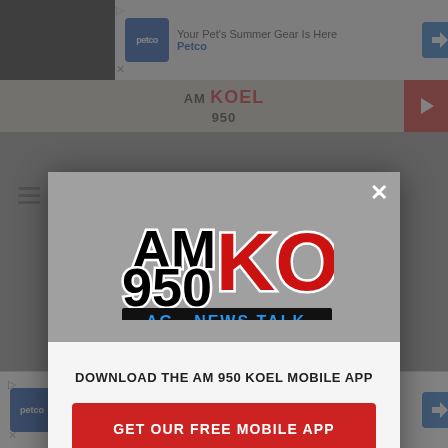[Figure (screenshot): Top advertisement banner: Petco 'Your Pet's Summer Gear Is Here' ad with Petco logo and navigation arrow icon on dark background]
[Figure (logo): AM 950 KOEL website header logo in red and black]
[Figure (screenshot): AM 950 KOEL mobile app download modal dialog with logo, 'DOWNLOAD THE AM 950 KOEL MOBILE APP' text, and red 'GET OUR FREE MOBILE APP' button]
[Figure (screenshot): Bottom advertisement banner: Petco 'Your Pet's Summer Gear Is Here' ad with Petco logo and navigation arrow icon]